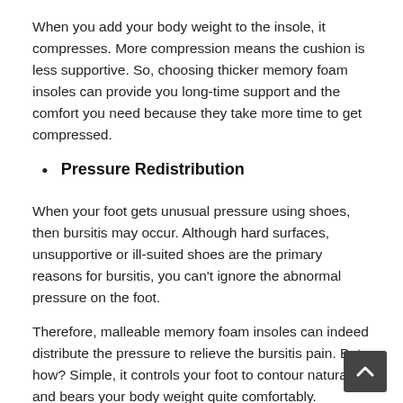When you add your body weight to the insole, it compresses. More compression means the cushion is less supportive. So, choosing thicker memory foam insoles can provide you long-time support and the comfort you need because they take more time to get compressed.
Pressure Redistribution
When your foot gets unusual pressure using shoes, then bursitis may occur. Although hard surfaces, unsupportive or ill-suited shoes are the primary reasons for bursitis, you can't ignore the abnormal pressure on the foot.
Therefore, malleable memory foam insoles can indeed distribute the pressure to relieve the bursitis pain. But how? Simple, it controls your foot to contour naturally and bears your body weight quite comfortably.
2. Heel Cup